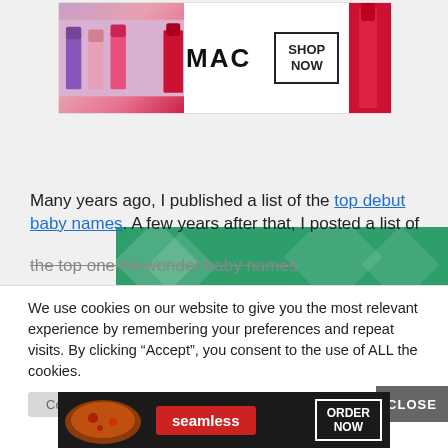[Figure (illustration): MAC cosmetics advertisement banner with lipsticks and SHOP NOW button]
[Figure (illustration): Green decorative banner with diamond/rhombus shapes]
Many years ago, I published a list of the top debut baby names. A few years after that, I posted a list of the top one-hit-wonder baby names.
We use cookies on our website to give you the most relevant experience by remembering your preferences and repeat visits. By clicking “Accept”, you consent to the use of ALL the cookies.
Do not sell my personal information.
[Figure (illustration): Seamless food delivery advertisement with pizza image, red Seamless logo, and ORDER NOW button]